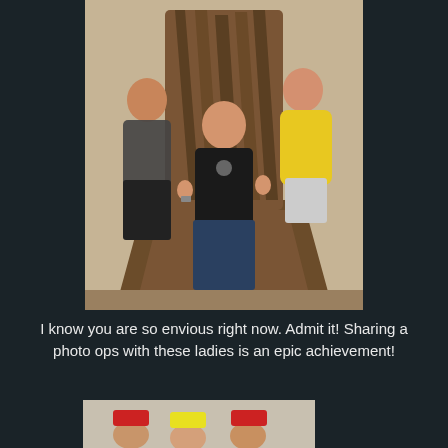[Figure (photo): Three people posing on a replica of the Iron Throne from Game of Thrones. A man in black sits in the center giving thumbs up, flanked by two young women — one in a checkered dress on the left, one in a yellow Pikachu hoodie on the right.]
I know you are so envious right now. Admit it! Sharing a photo ops with these ladies is an epic achievement!
[Figure (photo): Partial view of another photo showing people wearing caps, cropped at bottom of page.]